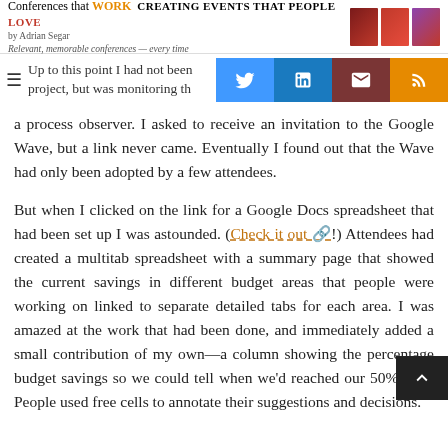Conferences that WORK CREATING EVENTS THAT PEOPLE LOVE by Adrian Segar — Relevant, memorable conferences — every time
Up to this point I had not been project, but was monitoring the a process observer. I asked to receive an invitation to the Google Wave, but a link never came. Eventually I found out that the Wave had only been adopted by a few attendees.
But when I clicked on the link for a Google Docs spreadsheet that had been set up I was astounded. (Check it out!) Attendees had created a multitab spreadsheet with a summary page that showed the current savings in different budget areas that people were working on linked to separate detailed tabs for each area. I was amazed at the work that had been done, and immediately added a small contribution of my own—a column showing the percentage budget savings so we could tell when we'd reached our 50% goal. People used free cells to annotate their suggestions and decisions.